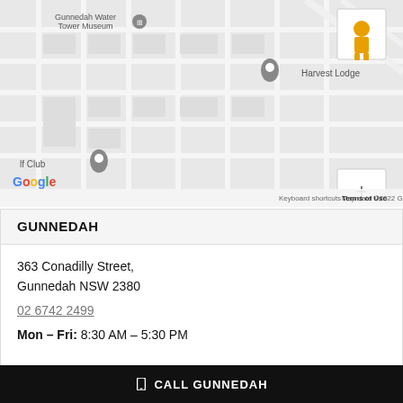[Figure (map): Google Maps screenshot showing Gunnedah area with roads, Gunnedah Water Tower Museum, Harvest Lodge, Golf Club markers. Google logo and map attribution visible. Zoom controls and Street View pegman on right side.]
GUNNEDAH
363 Conadilly Street,
Gunnedah NSW 2380
02 6742 2499
Mon - Fri: 8:30 AM - 5:30 PM
CALL GUNNEDAH